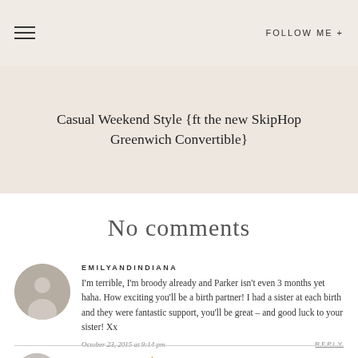FOLLOW ME +
Casual Weekend Style {ft the new SkipHop Greenwich Convertible}
No comments
EMILYANDINDIANA
I'm terrible, I'm broody already and Parker isn't even 3 months yet haha. How exciting you'll be a birth partner! I had a sister at each birth and they were fantastic support, you'll be great – and good luck to your sister! Xx
October 23, 2015 at 9:14 pm
REPLY
HARRIET LEE